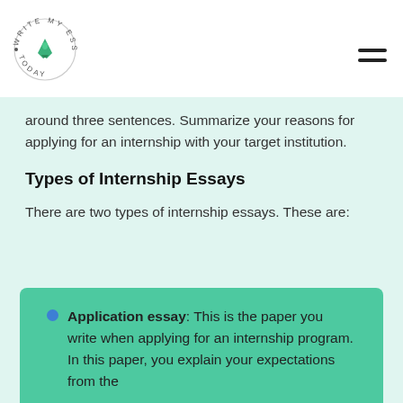Write My Essay Today logo and navigation
around three sentences. Summarize your reasons for applying for an internship with your target institution.
Types of Internship Essays
There are two types of internship essays. These are:
Application essay: This is the paper you write when applying for an internship program. In this paper, you explain your expectations from the